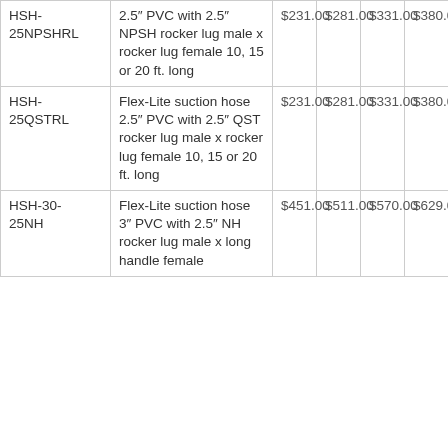| SKU | Description | 10 ft. | 15 ft. | 20 ft. | 25 ft. |
| --- | --- | --- | --- | --- | --- |
| HSH-25NPSHRL | 2.5″ PVC with 2.5″ NPSH rocker lug male x rocker lug female 10, 15 or 20 ft. long | $231.00 | $281.00 | $331.00 | $380.00 |
| HSH-25QSTRL | Flex-Lite suction hose 2.5″ PVC with 2.5″ QST rocker lug male x rocker lug female 10, 15 or 20 ft. long | $231.00 | $281.00 | $331.00 | $380.00 |
| HSH-30-25NH | Flex-Lite suction hose 3″ PVC with 2.5″ NH rocker lug male x long handle female | $451.00 | $511.00 | $570.00 | $629.00 |